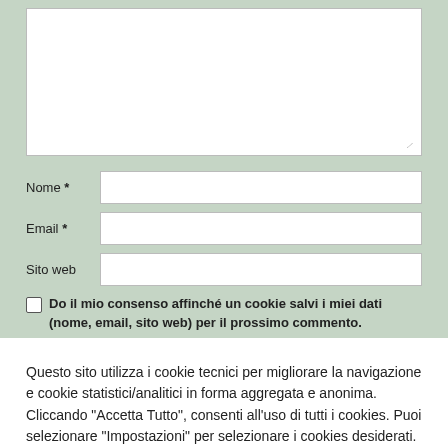[Figure (screenshot): Web form with textarea, name, email, sito web fields on a decorative background, and a cookie consent popup overlay at the bottom]
Nome *
Email *
Sito web
Do il mio consenso affinché un cookie salvi i miei dati (nome, email, sito web) per il prossimo commento.
Questo sito utilizza i cookie tecnici per migliorare la navigazione e cookie statistici/analitici in forma aggregata e anonima. Cliccando "Accetta Tutto", consenti all'uso di tutti i cookies. Puoi selezionare "Impostazioni" per selezionare i cookies desiderati.
Impostazioni
Accetta Tutto